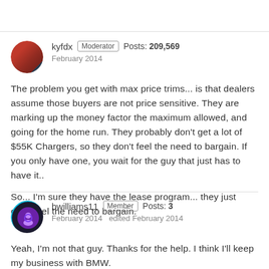kyfdx  Moderator  Posts: 209,569  February 2014
The problem you get with max price trims... is that dealers assume those buyers are not price sensitive. They are marking up the money factor the maximum allowed, and going for the home run. They probably don't get a lot of $55K Chargers, so they don't feel the need to bargain. If you only have one, you wait for the guy that just has to have it..

So... I'm sure they have the lease program... they just don't feel the need to bargain.
bwilliams11  Member  Posts: 3  February 2014  edited February 2014
Yeah, I'm not that guy. Thanks for the help. I think I'll keep my business with BMW.